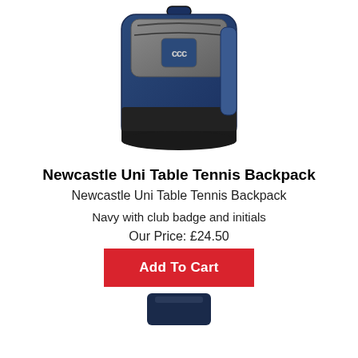[Figure (photo): Blue Canterbury backpack with grey front panel, zipper pockets, and CCC logo]
Newcastle Uni Table Tennis Backpack
Newcastle Uni Table Tennis Backpack
Navy with club badge and initials
Our Price: £24.50
Add To Cart
[Figure (photo): Partial view of a dark navy item at the bottom of the page]